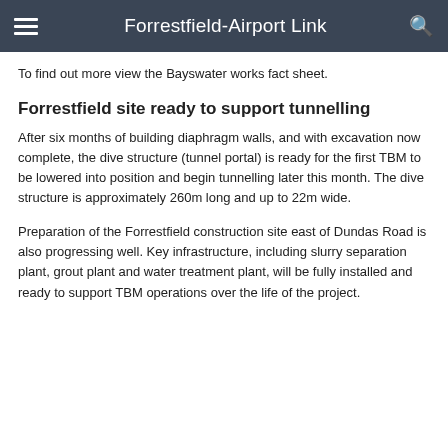Forrestfield-Airport Link
To find out more view the Bayswater works fact sheet.
Forrestfield site ready to support tunnelling
After six months of building diaphragm walls, and with excavation now complete, the dive structure (tunnel portal) is ready for the first TBM to be lowered into position and begin tunnelling later this month. The dive structure is approximately 260m long and up to 22m wide.
Preparation of the Forrestfield construction site east of Dundas Road is also progressing well. Key infrastructure, including slurry separation plant, grout plant and water treatment plant, will be fully installed and ready to support TBM operations over the life of the project.